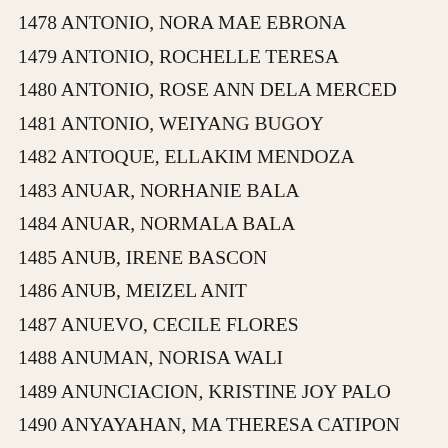1478 ANTONIO, NORA MAE EBRONA
1479 ANTONIO, ROCHELLE TERESA
1480 ANTONIO, ROSE ANN DELA MERCED
1481 ANTONIO, WEIYANG BUGOY
1482 ANTOQUE, ELLAKIM MENDOZA
1483 ANUAR, NORHANIE BALA
1484 ANUAR, NORMALA BALA
1485 ANUB, IRENE BASCON
1486 ANUB, MEIZEL ANIT
1487 ANUEVO, CECILE FLORES
1488 ANUMAN, NORISA WALI
1489 ANUNCIACION, KRISTINE JOY PALO
1490 ANYAYAHAN, MA THERESA CATIPON
1491 ANZIA, RIZALYN TAGUINOD
1492 ANZON, DARRA LYN ABAGATNAN
1493 APA, MARICEL NUERA
1494 APA, ROMELBA BERAME
1495 APACIBLE, KRISTINE JOY TUPAS
1496 APAD, REZEL MAGRO
1497 APALE, LESLIE JANE SEVILLA
1498 APALES, OLIVE QUIÃ'ONES
1499 APALIT, JENNIMAR BADILLOS
1500 APAM, JENEYJANE PABALETE